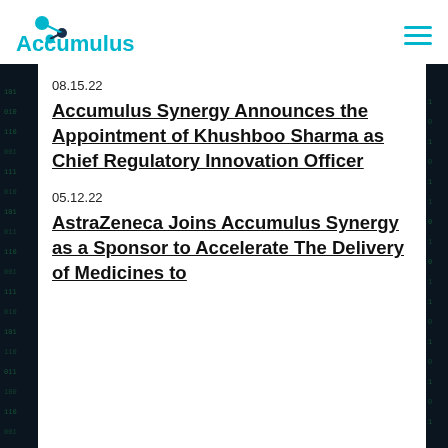Accumulus Synergy
08.15.22
Accumulus Synergy Announces the Appointment of Khushboo Sharma as Chief Regulatory Innovation Officer
05.12.22
AstraZeneca Joins Accumulus Synergy as a Sponsor to Accelerate The Delivery of Medicines to